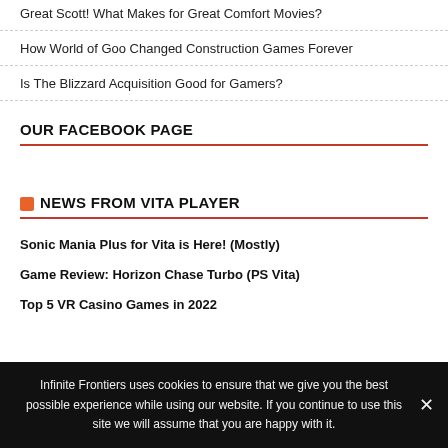Great Scott! What Makes for Great Comfort Movies?
How World of Goo Changed Construction Games Forever
Is The Blizzard Acquisition Good for Gamers?
OUR FACEBOOK PAGE
NEWS FROM VITA PLAYER
Sonic Mania Plus for Vita is Here! (Mostly)
Game Review: Horizon Chase Turbo (PS Vita)
Top 5 VR Casino Games in 2022
Infinite Frontiers uses cookies to ensure that we give you the best possible experience while using our website. If you continue to use this site we will assume that you are happy with it.